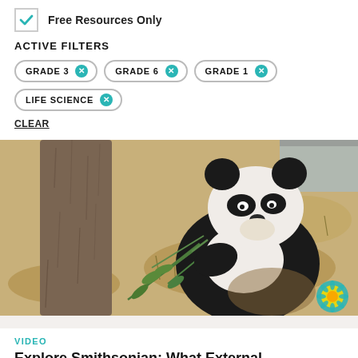Free Resources Only
ACTIVE FILTERS
GRADE 3  GRADE 6  GRADE 1  LIFE SCIENCE  CLEAR
[Figure (photo): A giant panda sitting at the base of a tree, eating bamboo shoots on dry ground]
VIDEO
Explore Smithsonian: What External